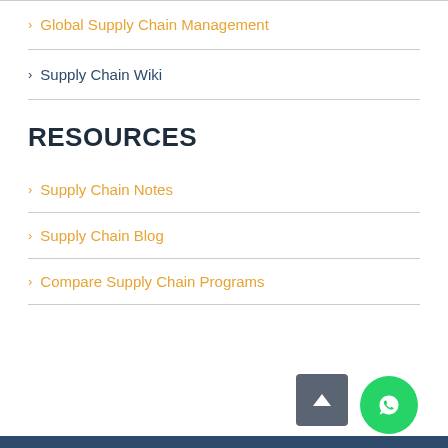> Global Supply Chain Management
> Supply Chain Wiki
RESOURCES
> Supply Chain Notes
> Supply Chain Blog
> Compare Supply Chain Programs